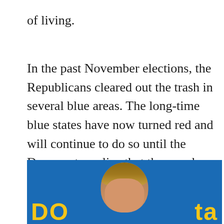of living.
In the past November elections, the Republicans cleared out the trash in several blue areas. The long-time blue states have now turned red and will continue to do so until the Democrats realize that the people do not want what they have to offer. At some point, the evil will be replaced by people who care about the country the way the Founding Fathers did when the country was firstborn.
[Figure (photo): Photo of a woman with brown hair against a blue background with partial yellow text visible at the bottom reading partial letters that appear to be part of a word or logo.]